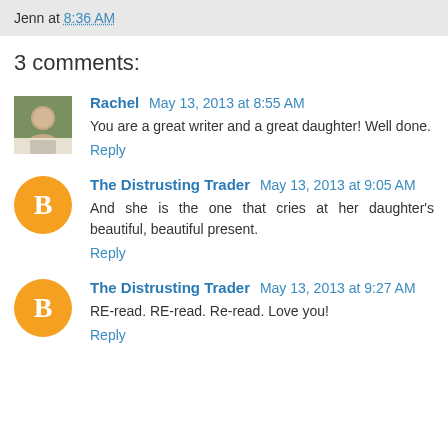Jenn at 8:36 AM
3 comments:
Rachel May 13, 2013 at 8:55 AM
You are a great writer and a great daughter! Well done.
Reply
The Distrusting Trader May 13, 2013 at 9:05 AM
And she is the one that cries at her daughter's beautiful, beautiful present.
Reply
The Distrusting Trader May 13, 2013 at 9:27 AM
RE-read. RE-read. Re-read. Love you!
Reply